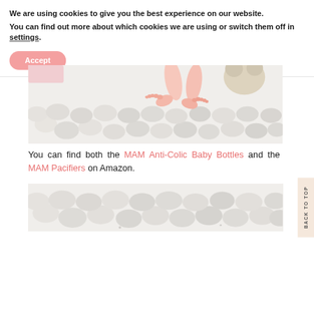We are using cookies to give you the best experience on our website.
You can find out more about which cookies we are using or switch them off in settings.
Accept
[Figure (photo): Baby feet resting on a white chunky knit blanket with a soft toy visible in the background]
You can find both the MAM Anti-Colic Baby Bottles and the MAM Pacifiers on Amazon.
[Figure (photo): Partial photo showing a white tufted or textured white surface, likely a continuation of the baby blanket or nursery setting]
BACK TO TOP